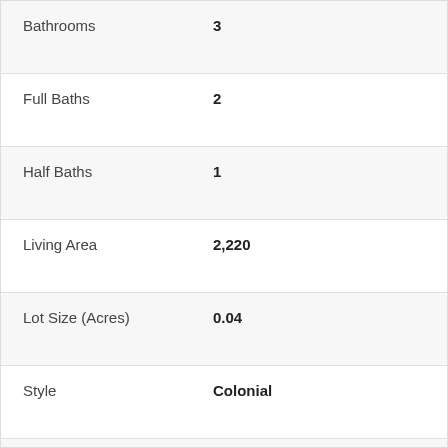| Property | Value |
| --- | --- |
| Bathrooms | 3 |
| Full Baths | 2 |
| Half Baths | 1 |
| Living Area | 2,220 |
| Lot Size (Acres) | 0.04 |
| Style | Colonial |
| Year Built | 2004 |
| County | Loudoun |
| School District | Loudoun County Public Schools |